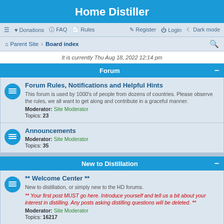Home Distiller
≡  Donations  FAQ  Rules  Register  Login  Dark mode
Parent Site · Board index
It is currently Thu Aug 18, 2022 12:14 pm
Forum
Forum Rules, Notifications and Helpful Hints
This forum is used by 1000's of people from dozens of countries. Please observe the rules, we all want to get along and contribute in a graceful manner.
Moderator: Site Moderator
Topics: 23
Announcements
Moderator: Site Moderator
Topics: 35
New to Distillation
** Welcome Center **
New to distillation, or simply new to the HD forums.
** Your first post MUST go here. Introduce yourself and tell us a bit about your interest in distilling. Any posts asking distilling questions will be deleted. **
Moderator: Site Moderator
Topics: 16217
New distiller reading Lounge